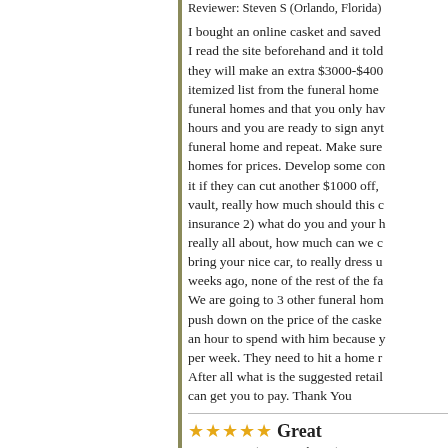Reviewer: Steven S (Orlando, Florida)
I bought an online casket and saved I read the site beforehand and it told they will make an extra $3000-$400 itemized list from the funeral home funeral homes and that you only hav hours and you are ready to sign anyt funeral home and repeat. Make sure homes for prices. Develop some con it if they can cut another $1000 off, vault, really how much should this c insurance 2) what do you and your h really all about, how much can we c bring your nice car, to really dress u weeks ago, none of the rest of the fa We are going to 3 other funeral hom push down on the price of the caske an hour to spend with him because y per week. They need to hit a home r After all what is the suggested retail can get you to pay. Thank You
Great
Reviewer: B (Fort Worth, TX)